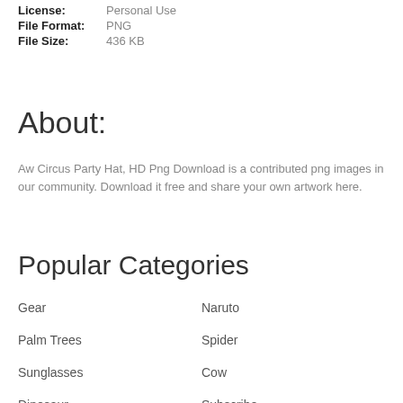License: Personal Use
File Format: PNG
File Size: 436 KB
About:
Aw Circus Party Hat, HD Png Download is a contributed png images in our community. Download it free and share your own artwork here.
Popular Categories
Gear
Naruto
Palm Trees
Spider
Sunglasses
Cow
Dinosaur
Subscribe